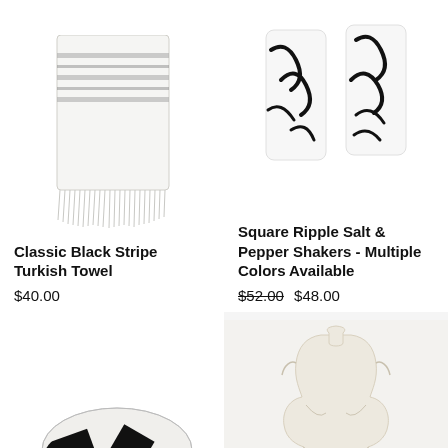[Figure (photo): White Turkish towel with black horizontal stripes and fringe at the bottom]
Classic Black Stripe Turkish Towel
$40.00
[Figure (photo): Two white socks with black abstract botanical/leaf pattern]
Square Ripple Salt & Pepper Shakers - Multiple Colors Available
$52.00  $48.00
[Figure (photo): Black and white abstract patterned ceramic bowl]
[Figure (photo): Cream/white ceramic female torso sculpture]